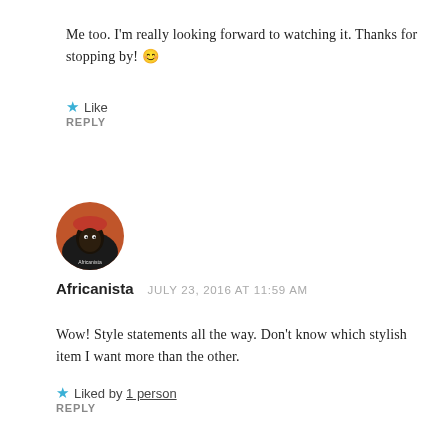Me too. I'm really looking forward to watching it. Thanks for stopping by! 😊
★ Like
REPLY
[Figure (photo): Circular avatar image of Africanista commenter, showing a stylized figure with red headwear on orange/dark background]
Africanista   JULY 23, 2016 AT 11:59 AM
Wow! Style statements all the way. Don't know which stylish item I want more than the other.
★ Liked by 1 person
REPLY